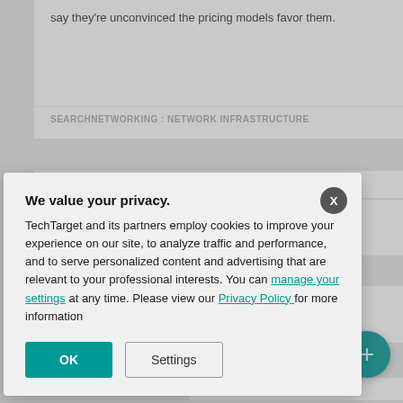say they're unconvinced the pricing models favor them.
SEARCHNETWORKING : NETWORK INFRASTRUCTURE
WED FEB 12, 2020
AWS collaboration highlights Domo analytics platform update
ures a new to work with developers.
NTELLIGENCE
o connect
eir cloud
We value your privacy. TechTarget and its partners employ cookies to improve your experience on our site, to analyze traffic and performance, and to serve personalized content and advertising that are relevant to your professional interests. You can manage your settings at any time. Please view our Privacy Policy for more information
OK
Settings